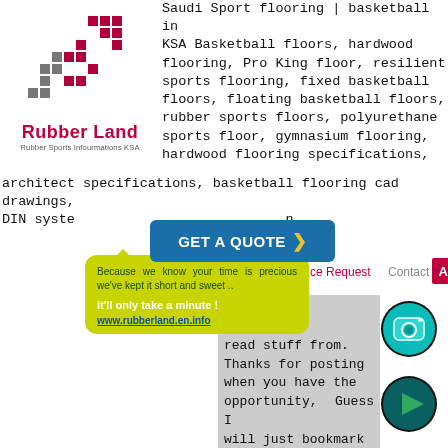[Figure (logo): Rubber Land logo with red/grey pixel squares and brand name in red, subtitle 'Rubber Sports Infourmations KSA']
Saudi Sport flooring | basketball in KSA Basketball floors, hardwood flooring, Pro King floor, resilient sports flooring, fixed basketball floors, floating basketball floors, rubber sports floors, polyurethane sports floor, gymnasium flooring, hardwood flooring specifications, architect specifications, basketball flooring cad drawings, DIN system n
[Figure (infographic): Blue 'GET A QUOTE >' button with yellow-green tooltip bubble: 'Because we know your time is precious we've kept it short and sweet .. it'll only take a minute !' and link www.rubberland.en.info]
ice Request   Contact   AR
ed to have read stuff from. Thanks for posting when you have the opportunity, Guess I will just bookmark this web site. A fascinating discussion is worth comment. I think that you ought to
[Figure (photo): Instagram app icon (teal camera)]
[Figure (photo): Play button icon (dark teal circle with triangle)]